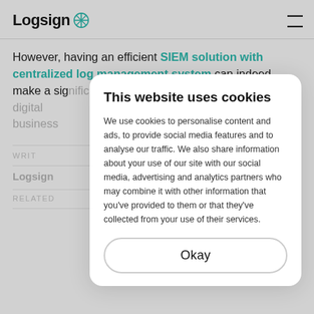Logsign
However, having an efficient SIEM solution with centralized log management system can indeed make a significant difference. is digital e business
WRIT
Logsign
RELATED
This website uses cookies
We use cookies to personalise content and ads, to provide social media features and to analyse our traffic. We also share information about your use of our site with our social media, advertising and analytics partners who may combine it with other information that you've provided to them or that they've collected from your use of their services.
Okay